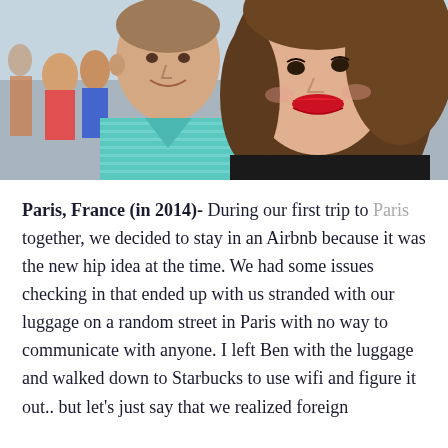[Figure (photo): A close-up selfie of a couple outdoors. A man on the left wearing a light blue/teal striped polo shirt, and a woman on the right with long brown hair and red lipstick, both smiling. A crowd and bright outdoor setting visible in the background.]
Paris, France (in 2014)- During our first trip to Paris together, we decided to stay in an Airbnb because it was the new hip idea at the time. We had some issues checking in that ended up with us stranded with our luggage on a random street in Paris with no way to communicate with anyone. I left Ben with the luggage and walked down to Starbucks to use wifi and figure it out.. but let's just say that we realized foreign